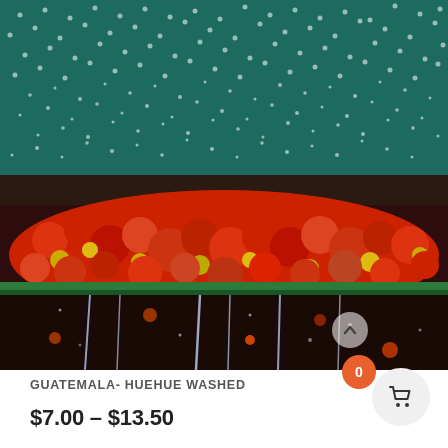[Figure (photo): Coffee cherries (red and yellow) being washed with water spraying down from above onto a sorting tray, with water streaming off the bottom. Background shows green mesh/netting with water droplets.]
GUATEMALA- HUEHUE WASHED
$7.00 – $13.50